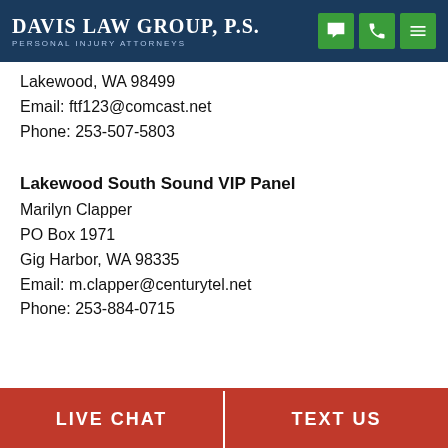Davis Law Group, P.S. — Personal Injury Attorneys
Lakewood, WA 98499
Email: ftf123@comcast.net
Phone: 253-507-5803
Lakewood South Sound VIP Panel
Marilyn Clapper
PO Box 1971
Gig Harbor, WA 98335
Email: m.clapper@centurytel.net
Phone: 253-884-0715
LIVE CHAT   TEXT US